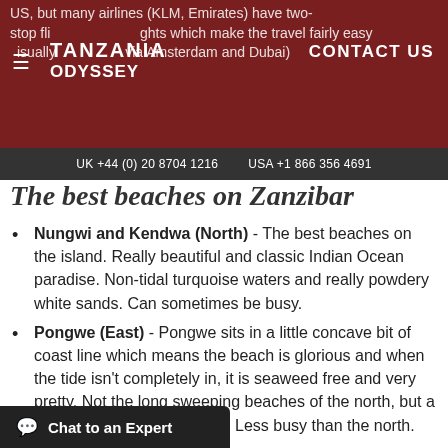US, but many airlines (KLM, Emirates) have two-stop flights which make the travel fairly easy usually via Amsterdam and Dubai
TANZANIA ODYSSEY | CONTACT US | UK +44 (0) 20 8704 1216 | USA +1 866 356 4691
The best beaches on Zanzibar
Nungwi and Kendwa (North) - The best beaches on the island. Really beautiful and classic Indian Ocean paradise. Non-tidal turquoise waters and really powdery white sands. Can sometimes be busy.
Pongwe (East) - Pongwe sits in a little concave bit of coast line which means the beach is glorious and when the tide isn't completely in, it is seaweed free and very pretty. Not the long sweeping beaches of the north, but a pocket of pure beachy gold. Less busy than the north.
Paje and Dongwe (East) - Although tidal, here sit some of our favourite luxury boutique hotels. down here in terms of